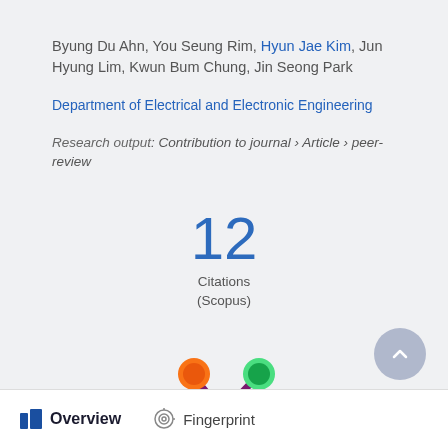Byung Du Ahn, You Seung Rim, Hyun Jae Kim, Jun Hyung Lim, Kwun Bum Chung, Jin Seong Park
Department of Electrical and Electronic Engineering
Research output: Contribution to journal › Article › peer-review
12 Citations (Scopus)
[Figure (logo): Plum Analytics colored splash logo with orange, green, and purple circles]
Overview   Fingerprint